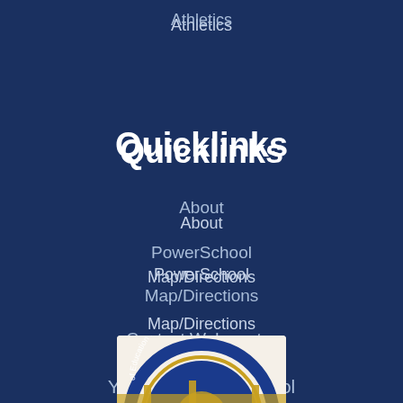Athletics
Quicklinks
About
PowerSchool
Map/Directions
Contact Webmaster
Yarmouth High School
[Figure (logo): National Blue Ribbon School / US Department of Education seal, partially visible at bottom of page]